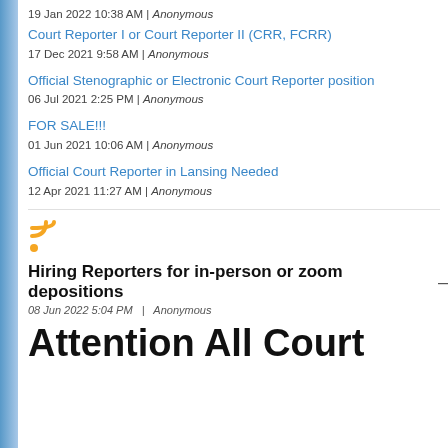19 Jan 2022 10:38 AM | Anonymous
Court Reporter I or Court Reporter II (CRR, FCRR)
17 Dec 2021 9:58 AM | Anonymous
Official Stenographic or Electronic Court Reporter position
06 Jul 2021 2:25 PM | Anonymous
FOR SALE!!!
01 Jun 2021 10:06 AM | Anonymous
Official Court Reporter in Lansing Needed
12 Apr 2021 11:27 AM | Anonymous
[Figure (other): RSS feed icon (orange)]
Hiring Reporters for in-person or zoom depositions
08 Jun 2022 5:04 PM | Anonymous
Attention All Court